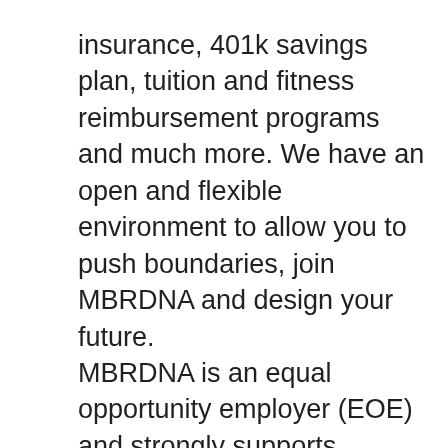insurance, 401k savings plan, tuition and fitness reimbursement programs and much more. We have an open and flexible environment to allow you to push boundaries, join MBRDNA and design your future. MBRDNA is an equal opportunity employer (EOE) and strongly supports diversity in the workforce. MBRDNA only accepts resumes from approved agencies who have a valid Agency Agreement on file. Please do not forward resumes to our applicant tracking system, MBRDNA employees, or send to any MBRDNA location. MBRDNA is not responsible for any fees or claims related to receipt of unsolicited resumes. Thank you for your interest in Mercedes-Benz Research & Development North America. Please